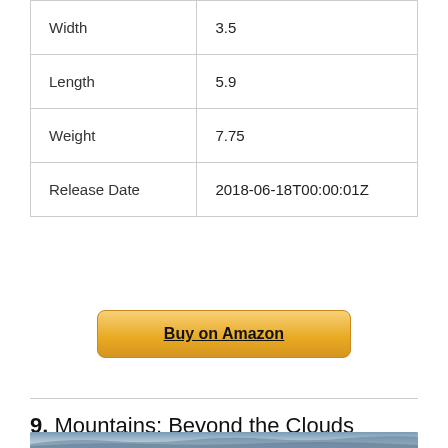| Property | Value |
| --- | --- |
| Width | 3.5 |
| Length | 5.9 |
| Weight | 7.75 |
| Release Date | 2018-06-18T00:00:01Z |
Buy on Amazon
9. Mountains: Beyond the Clouds
[Figure (photo): Partial view of a mountain scene with clouds, cropped at bottom of page]